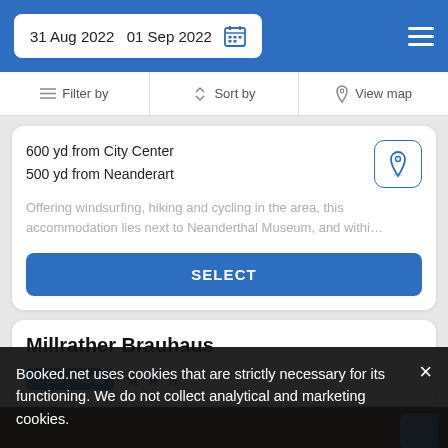31 Aug 2022  01 Sep 2022
Filter by  Sort by  View map
600 yd from City Center
500 yd from Neanderart
Offering windsurfing, hiking and cycling in the area, this accommodation lies next to Neanderthal Museum, and withi…
SELECT
Millrather Brauhaus
Guest house ★★★
Booked.net uses cookies that are strictly necessary for its functioning. We do not collect analytical and marketing cookies.